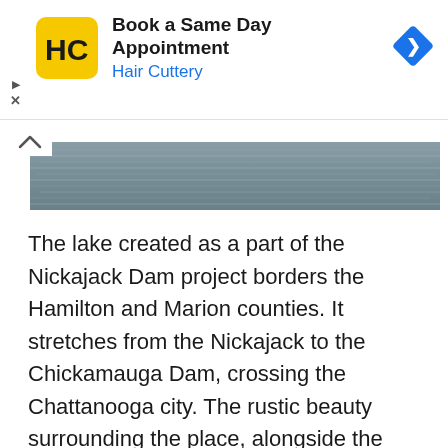[Figure (screenshot): Advertisement banner for Hair Cuttery: yellow logo with HC letters, text 'Book a Same Day Appointment' and 'Hair Cuttery' in blue, blue diamond direction arrow icon on right, play and close controls on left side]
[Figure (photo): Partial photo of a lake or river water surface with ripples, grayish-blue tones, with a white chevron/up-arrow icon overlaid on the left]
The lake created as a part of the Nickajack Dam project borders the Hamilton and Marion counties. It stretches from the Nickajack to the Chickamauga Dam, crossing the Chattanooga city. The rustic beauty surrounding the place, alongside the various interesting activities provided here makes it a sought-after vacationing spot. Bald eagles, ducks, geese, and American coots often frequent the